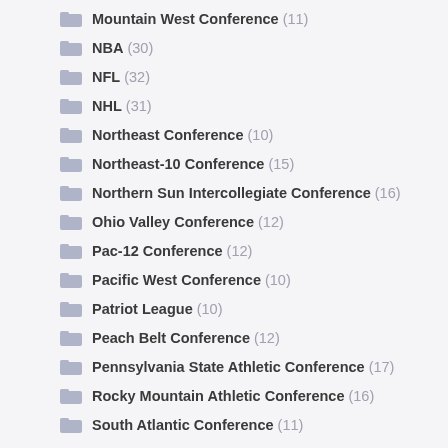Mountain West Conference (11)
NBA (30)
NFL (32)
NHL (31)
Northeast Conference (10)
Northeast-10 Conference (15)
Northern Sun Intercollegiate Conference (16)
Ohio Valley Conference (12)
Pac-12 Conference (12)
Pacific West Conference (10)
Patriot League (10)
Peach Belt Conference (12)
Pennsylvania State Athletic Conference (17)
Rocky Mountain Athletic Conference (16)
South Atlantic Conference (11)